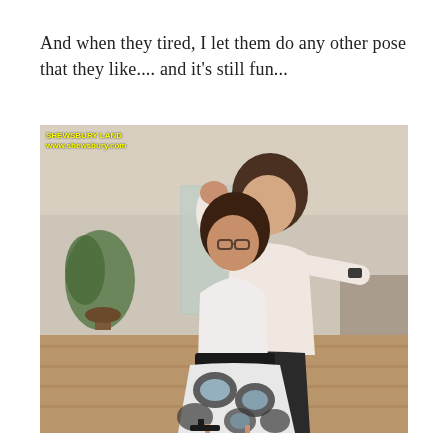And when they tired, I let them do any other pose that they like.... and it's still fun...
[Figure (photo): Two young women posing playfully in an office/indoor setting. One woman in a patterned skirt and glasses has her fist raised, while the other woman in a white blouse wraps her arms around her from behind. A watermark reads 'SHEWSBURY LAND www.shewsbury.com' in the top-left corner.]